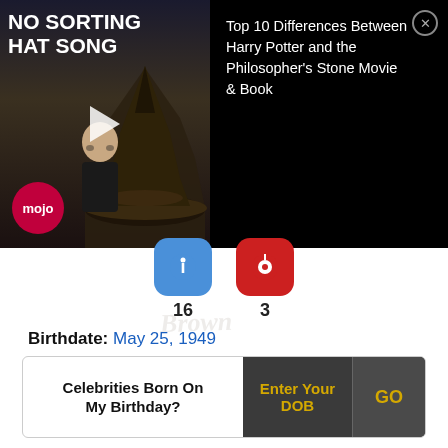[Figure (screenshot): Video thumbnail with 'NO SORTING HAT SONG' title and WatchMojo logo, overlaid with a Harry Potter Sorting Hat image. Adjacent black panel shows article title 'Top 10 Differences Between Harry Potter and the Philosopher's Stone Movie & Book' with a close button.]
[Figure (infographic): Two social share buttons: blue (16 shares) and red Pinterest (3 shares)]
Birthdate: May 25, 1949
Sun Sign: Gemini
Birthplace: St. John's
Celebrities Born On My Birthday? Enter Your DOB GO